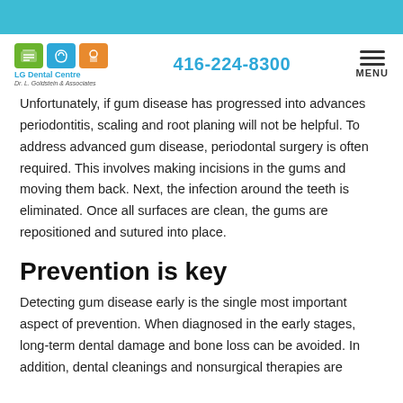LG Dental Centre | 416-224-8300 | MENU
Unfortunately, if gum disease has progressed into advances periodontitis, scaling and root planing will not be helpful. To address advanced gum disease, periodontal surgery is often required. This involves making incisions in the gums and moving them back. Next, the infection around the teeth is eliminated. Once all surfaces are clean, the gums are repositioned and sutured into place.
Prevention is key
Detecting gum disease early is the single most important aspect of prevention. When diagnosed in the early stages, long-term dental damage and bone loss can be avoided. In addition, dental cleanings and nonsurgical therapies are